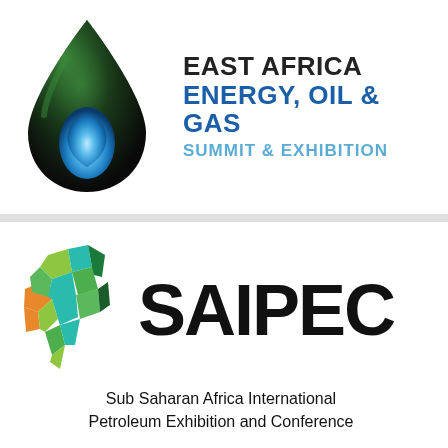[Figure (logo): East Africa Energy, Oil & Gas Summit & Exhibition logo — a black and green water-drop shape with a blue flame inside, beside the text 'EAST AFRICA ENERGY, OIL & GAS SUMMIT & EXHIBITION']
[Figure (logo): SAIPEC logo — a colorful geometric map of Africa in green, teal, orange and yellow polygons, beside the bold text 'SAIPEC' and subtitle 'Sub Saharan Africa International Petroleum Exhibition and Conference']